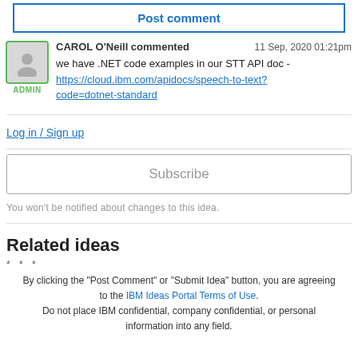Post comment
CAROL O'Neill commented   11 Sep, 2020 01:21pm
we have .NET code examples in our STT API doc - https://cloud.ibm.com/apidocs/speech-to-text?code=dotnet-standard
Log in / Sign up
Subscribe
You won't be notified about changes to this idea.
Related ideas
* * *
By clicking the "Post Comment" or "Submit Idea" button, you are agreeing to the IBM Ideas Portal Terms of Use. Do not place IBM confidential, company confidential, or personal information into any field.